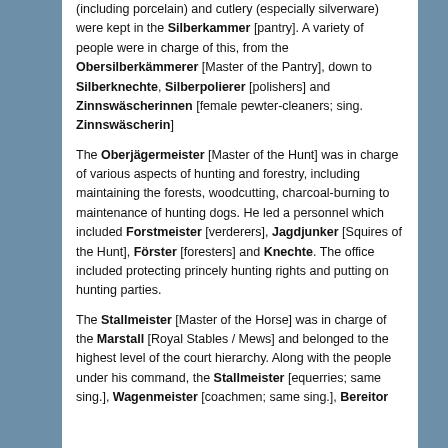(including porcelain) and cutlery (especially silverware) were kept in the Silberkammer [pantry]. A variety of people were in charge of this, from the Obersilberkämmerer [Master of the Pantry], down to Silberknechte, Silberpolierer [polishers] and Zinnswäscherinnen [female pewter-cleaners; sing. Zinnswäscherin]
The Oberjägermeister [Master of the Hunt] was in charge of various aspects of hunting and forestry, including maintaining the forests, woodcutting, charcoal-burning to maintenance of hunting dogs. He led a personnel which included Forstmeister [verderers], Jagdjunker [Squires of the Hunt], Förster [foresters] and Knechte. The office included protecting princely hunting rights and putting on hunting parties.
The Stallmeister [Master of the Horse] was in charge of the Marstall [Royal Stables / Mews] and belonged to the highest level of the court hierarchy. Along with the people under his command, the Stallmeister [equerries; same sing.], Wagenmeister [coachmen; same sing.], Bereitor